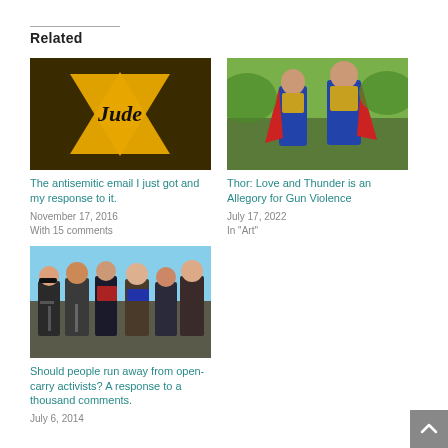Related
[Figure (photo): Yellow Star of David badge with 'Jude' written on it in black text, on a dark background]
The antisemitic email I just got and my response to it.
November 17, 2016
With 15 comments
[Figure (photo): Two people in Thor costumes (Marvel superhero) standing outdoors]
Thor: Love and Thunder is an Allegory for Gun Violence
July 17, 2022
In "Art"
[Figure (photo): Group of people at an outdoor event, some carrying firearms, appearing to be open-carry activists]
Should people run away from open-carry activists? A response to a thousand comments.
July 6, 2014